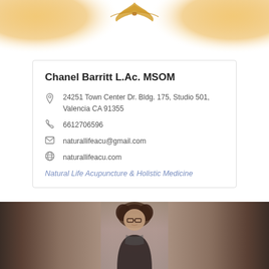[Figure (illustration): Decorative golden ornament at top center with amber/gold watercolor wash on left and right corners]
Chanel Barritt L.Ac. MSOM
24251 Town Center Dr. Bldg. 175, Studio 501, Valencia CA 91355
6612706596
naturallifeacu@gmail.com
naturallifeacu.com
Natural Life Acupuncture & Holistic Medicine
[Figure (photo): Portrait photo of a woman with curly brown hair and glasses, smiling, dark background]